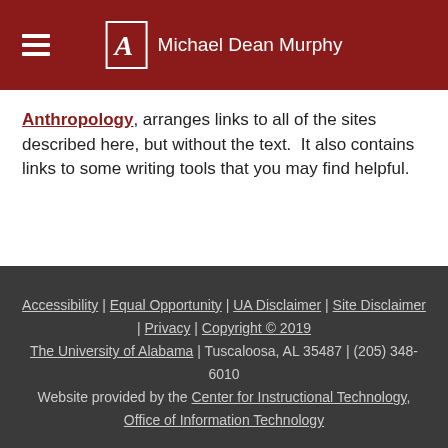Michael Dean Murphy
Anthropology, arranges links to all of the sites described here, but without the text.  It also contains links to some writing tools that you may find helpful.
Accessibility | Equal Opportunity | UA Disclaimer | Site Disclaimer | Privacy | Copyright © 2019
The University of Alabama | Tuscaloosa, AL 35487 | (205) 348-6010
Website provided by the Center for Instructional Technology, Office of Information Technology